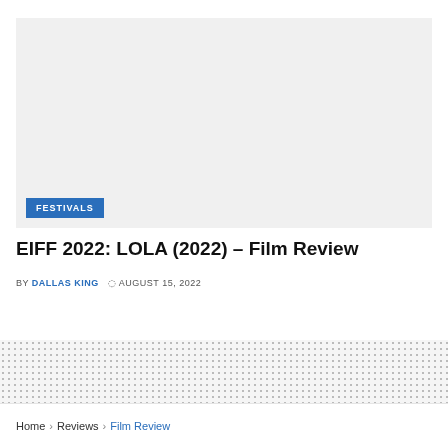[Figure (photo): Large placeholder image area with light grey background and a blue 'FESTIVALS' badge in the bottom-left corner]
EIFF 2022: LOLA (2022) – Film Review
BY DALLAS KING   AUGUST 15, 2022
Home › Reviews › Film Review